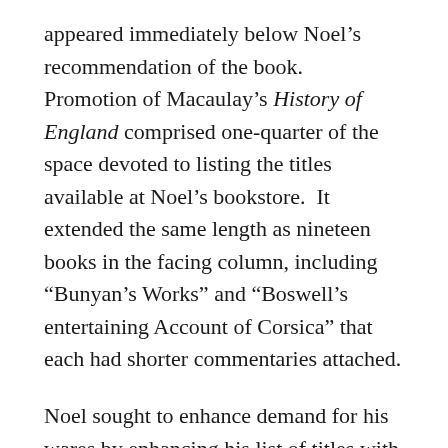appeared immediately below Noel's recommendation of the book. Promotion of Macaulay's History of England comprised one-quarter of the space devoted to listing the titles available at Noel's bookstore. It extended the same length as nineteen books in the facing column, including “Bunyan’s Works” and “Boswell’s entertaining Account of Corsica” that each had shorter commentaries attached.
Noel sought to enhance demand for his wares by enhancing his list of titles with additional notes about some of them. He hoped that endorsements by celebrity preachers like Whitefield, recommendations from literary critics from magazines like the Critical Review and other titles appeared on the page.